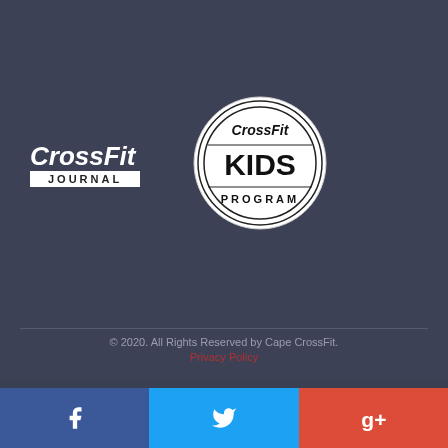[Figure (logo): CrossFit Journal logo - white italic bold text with JOURNAL in white bar below]
[Figure (logo): CrossFit Kids Program circular logo with double ring border]
© 2020. All Rights Reserved by Cape CrossFit.
Privacy Policy
CALL US NOW
021 461 0243
[Figure (infographic): Social media icons: Facebook, Twitter, YouTube, RSS feed - grey colored]
[Figure (infographic): Social media bar at bottom: Facebook (blue), Twitter (cyan), Google+ (red) with white icons]